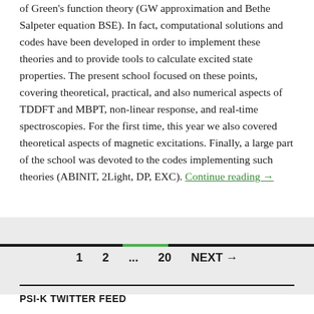of Green's function theory (GW approximation and Bethe Salpeter equation BSE). In fact, computational solutions and codes have been developed in order to implement these theories and to provide tools to calculate excited state properties. The present school focused on these points, covering theoretical, practical, and also numerical aspects of TDDFT and MBPT, non-linear response, and real-time spectroscopies. For the first time, this year we also covered theoretical aspects of magnetic excitations. Finally, a large part of the school was devoted to the codes implementing such theories (ABINIT, 2Light, DP, EXC). Continue reading →
1  2  ...  20  NEXT →
PSI-K TWITTER FEED